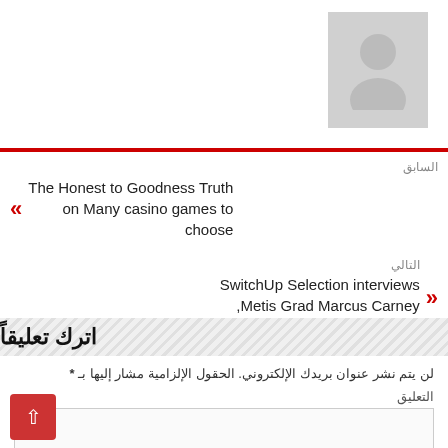[Figure (illustration): Gray placeholder avatar/profile image with silhouette of a person]
السابق
The Honest to Goodness Truth on Many casino games to choose
التالي
SwitchUp Selection interviews Metis Grad Marcus Carney, Army Vet & Info Scientist
اترك تعليقاً
لن يتم نشر عنوان بريدك الإلكتروني. الحقول الإلزامية مشار إليها بـ *
التعليق